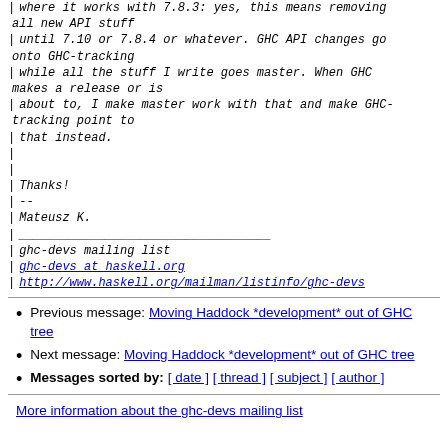| where it works with 7.8.3: yes, this means removing all new API stuff
| until 7.10 or 7.8.4 or whatever. GHC API changes go onto GHC-tracking
| while all the stuff I write goes master. When GHC makes a release or is
| about to, I make master work with that and make GHC-tracking point to
| that instead.
|
|
| Thanks!
| --
| Mateusz K.
| ___________________________________
| ghc-devs mailing list
| ghc-devs at haskell.org
| http://www.haskell.org/mailman/listinfo/ghc-devs
Previous message: Moving Haddock *development* out of GHC tree
Next message: Moving Haddock *development* out of GHC tree
Messages sorted by: [ date ] [ thread ] [ subject ] [ author ]
More information about the ghc-devs mailing list